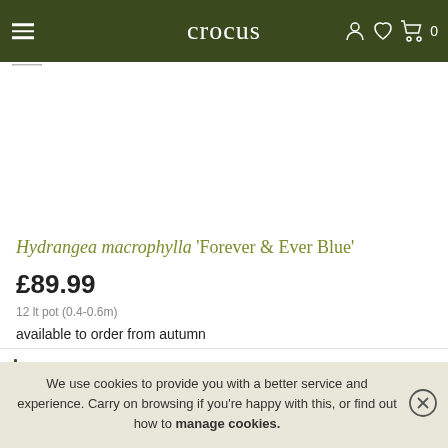crocus
[Figure (screenshot): Broken/missing product image placeholder (small gray box with image icon)]
Hydrangea macrophylla 'Forever & Ever Blue'
£89.99
12 lt pot (0.4-0.6m)
available to order from autumn
Email me when available
We use cookies to provide you with a better service and experience. Carry on browsing if you're happy with this, or find out how to manage cookies.